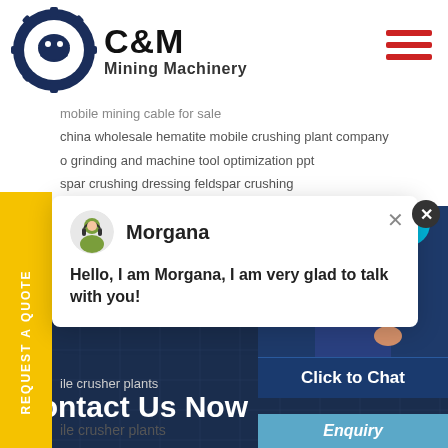[Figure (logo): C&M Mining Machinery logo with eagle gear emblem in dark blue, company name in bold black text]
[Figure (other): Hamburger menu icon with three red horizontal lines]
mobile mining cable for sale
china wholesale hematite mobile crushing plant company
o grinding and machine tool optimization ppt
spar crushing dressing feldspar crushing
REQUEST A QUOTE
Morgana
Hello, I am Morgana, I am very glad to talk with you!
ile crusher plants
Contact Us Now
Click to Chat
Enquiry